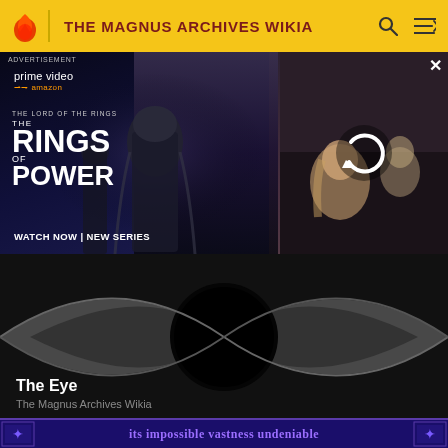THE MAGNUS ARCHIVES WIKIA
[Figure (screenshot): Amazon Prime Video advertisement for The Lord of the Rings: The Rings of Power. Left panel shows dark fantasy artwork with hooded figure and text 'RINGS OF POWER' and 'WATCH NOW | NEW SERIES'. Right panel shows a blonde woman with other figures and a reload/refresh icon overlay.]
ADVERTISEMENT
[Figure (illustration): Large stylized eye graphic in black and dark gray on black background. The eye shape is formed by two triangular points meeting at left and right with a large black circle in the center representing the pupil.]
The Eye
The Magnus Archives Wikia
[Figure (screenshot): Bottom banner with dark purple/indigo background and decorative border. Text reads 'its impossible vastness undeniable' in a gothic/medieval font style in purple color.]